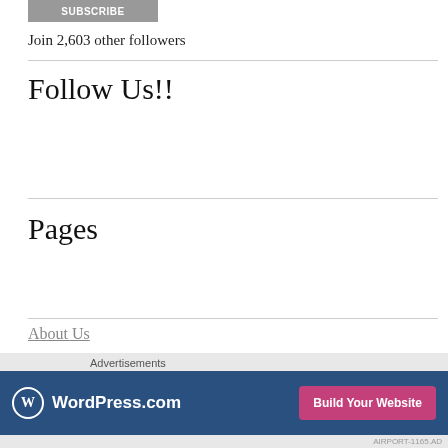[Figure (other): Subscribe button (grey/dark background with white text 'SUBSCRIBE')]
Join 2,603 other followers
Follow Us!!
Pages
About Us
Contact Us
Advertisements
[Figure (other): WordPress.com advertisement banner with blue background, WordPress logo, and 'Build Your Website' pink button]